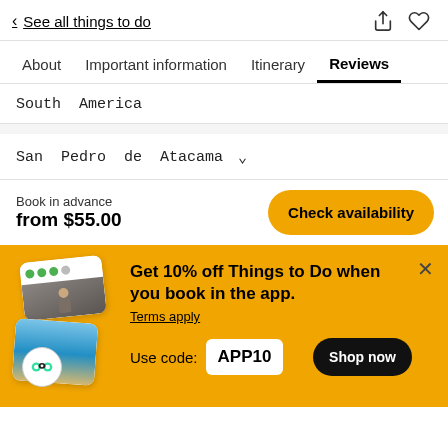< See all things to do
About | Important information | Itinerary | Reviews
South America
San Pedro de Atacama
Book in advance
from $55.00
Get 10% off Things to Do when you book in the app. Terms apply
Use code: APP10
Shop now